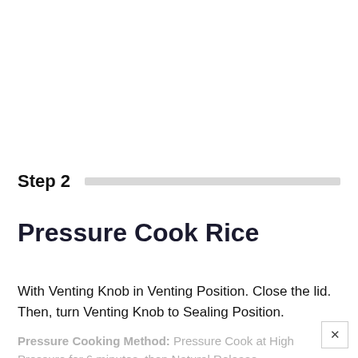Step 2
Pressure Cook Rice
With Venting Knob in Venting Position. Close the lid. Then, turn Venting Knob to Sealing Position.
Pressure Cooking Method: Pressure Cook at High Pressure for 6 minutes, then Natural Release...